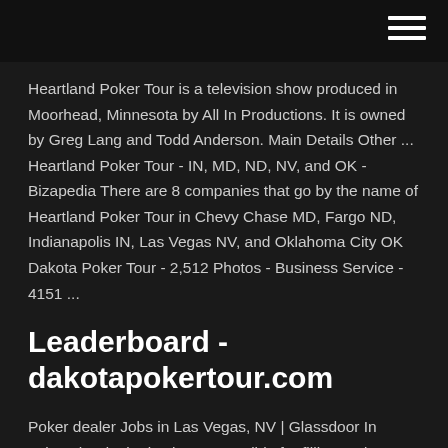Heartland Poker Tour is a television show produced in Moorhead, Minnesota by All In Productions. It is owned by Greg Lang and Todd Anderson. Main Details Other ... Heartland Poker Tour - IN, MD, ND, NV, and OK - Bizapedia There are 8 companies that go by the name of Heartland Poker Tour in Chevy Chase MD, Fargo ND, Indianapolis IN, Las Vegas NV, and Oklahoma City OK Dakota Poker Tour - 2,512 Photos - Business Service - 4151 ...
Leaderboard - dakotapokertour.com
Poker dealer Jobs in Las Vegas, NV | Glassdoor In poker, the dealer is also responsible for filling and exchanging